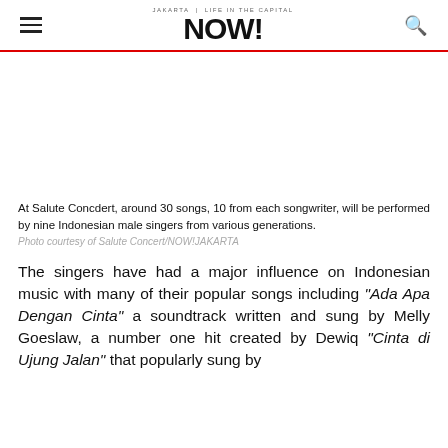NOW! Jakarta
At Salute Concdert, around 30 songs, 10 from each songwriter, will be performed by nine Indonesian male singers from various generations.
Photo courtesy of Salute Concert/NOW!JAKARTA
The singers have had a major influence on Indonesian music with many of their popular songs including “Ada Apa Dengan Cinta” a soundtrack written and sung by Melly Goeslaw, a number one hit created by Dewiq “Cinta di Ujung Jalan” that popularly sung by